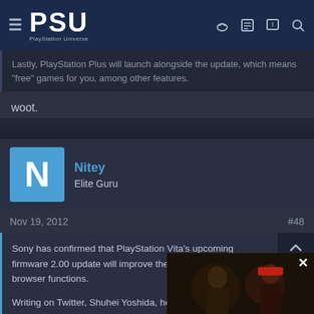PSU PlayStation Universe — navigation bar
Lastly, PlayStation Plus will launch alongside the update, which means "free" games for you, among other features.
woot.
Nitey
Elite Guru
Nov 19, 2012   #48
Sony has confirmed that PlayStation Vita's upcoming firmware 2.00 update will improve the handheld's web browser functions.

Writing on Twitter, Shuhei Yoshida, head of Sony Entertainment Worldwide Studios (SCE), confirmed the update will allow gamers to switch to the browser while playing a game among other improvements.
[Figure (screenshot): Video overlay showing game footage with controls and caption: THE FIFTH AND FINAL SEASON OF COD: WARZONE WILL BEGIN ON AUGUST 24]
Click more